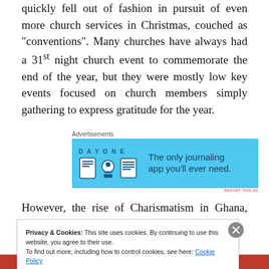quickly fell out of fashion in pursuit of even more church services in Christmas, couched as “conventions”. Many churches have always had a 31st night church event to commemorate the end of the year, but they were mostly low key events focused on church members simply gathering to express gratitude for the year.
[Figure (infographic): DayOne journaling app advertisement banner with icons and text: 'The only journaling app you’ll ever need.']
However, the rise of Charismatism in Ghana, with
Privacy & Cookies: This site uses cookies. By continuing to use this website, you agree to their use. To find out more, including how to control cookies, see here: Cookie Policy
Close and accept